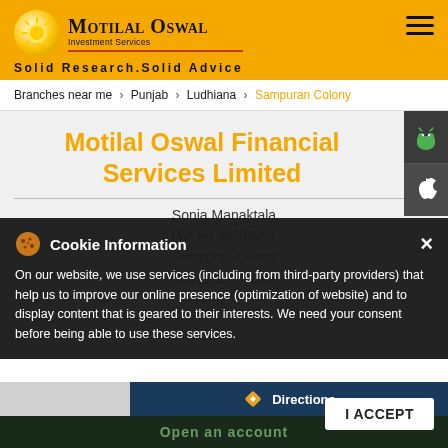Motilal Oswal Investment Services — Solid Research.Solid Advice
Branches near me > Punjab > Ludhiana > Sampuran Colony
Motilal Oswal Financial Services Limited
Sonia Manaktala
Plot No 3620/5A/1
Sampuran Colony
Ludhiana - 141002
Cookie Information
On our website, we use services (including from third-party providers) that help us to improve our online presence (optimization of website) and to display content that is geared to their interests. We need your consent before being able to use these services.
Directions
I ACCEPT
Open an account